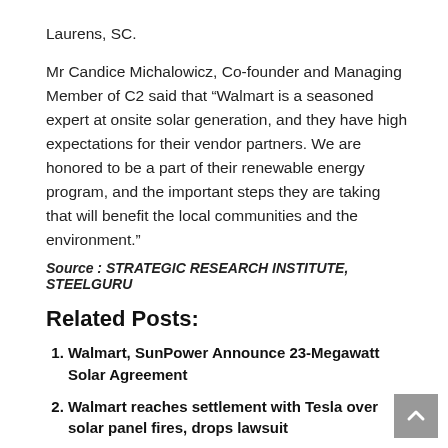Laurens, SC.
Mr Candice Michalowicz, Co-founder and Managing Member of C2 said that “Walmart is a seasoned expert at onsite solar generation, and they have high expectations for their vendor partners. We are honored to be a part of their renewable energy program, and the important steps they are taking that will benefit the local communities and the environment.”
Source : STRATEGIC RESEARCH INSTITUTE, STEELGURU
Related Posts:
Walmart, SunPower Announce 23-Megawatt Solar Agreement
Walmart reaches settlement with Tesla over solar panel fires, drops lawsuit
Apex Clean Energy Leads Market for 2019 Corporate Renewable Power Procurement